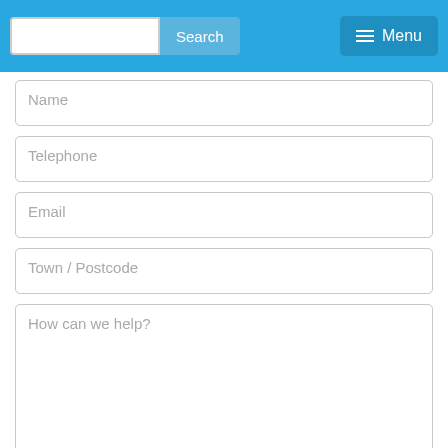Search | Menu
Name
Telephone
Email
Town / Postcode
How can we help?
Submit